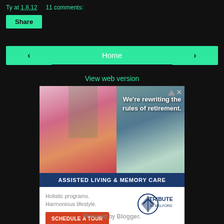Ty at 1.8.12   11 comments:
Share
‹
Home
›
View web version
[Figure (photo): Advertisement banner for Tribute at Melford assisted living facility showing elderly woman painting, with text 'We're rewriting the rules of retirement.' and 'ASSISTED LIVING & MEMORY CARE'. Bottom section shows 'Holistic programs. Harmonious lifestyle.' with a 'SCHEDULE A TOUR' button and Tribute at Melford logo.]
Powered by Blogger.